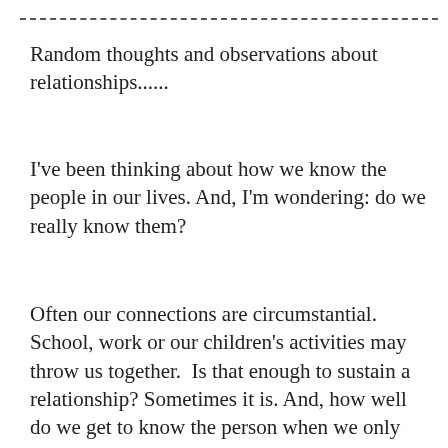Random thoughts and observations about relationships......
I've been thinking about how we know the people in our lives. And, I'm wondering: do we really know them?
Often our connections are circumstantial. School, work or our children's activities may throw us together.  Is that enough to sustain a relationship? Sometimes it is. And, how well do we get to know the person when we only interact in a certain context.